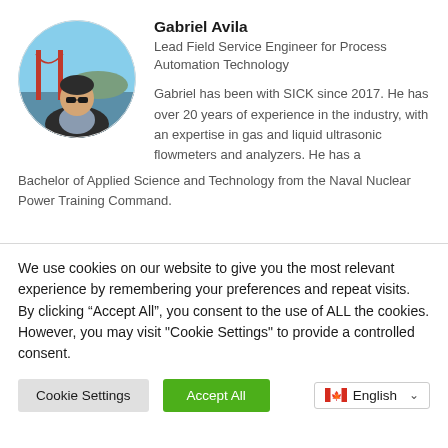[Figure (photo): Circular profile photo of Gabriel Avila in front of the Golden Gate Bridge, wearing sunglasses and a dark blazer.]
Gabriel Avila
Lead Field Service Engineer for Process Automation Technology
Gabriel has been with SICK since 2017. He has over 20 years of experience in the industry, with an expertise in gas and liquid ultrasonic flowmeters and analyzers. He has a Bachelor of Applied Science and Technology from the Naval Nuclear Power Training Command.
We use cookies on our website to give you the most relevant experience by remembering your preferences and repeat visits. By clicking “Accept All”, you consent to the use of ALL the cookies. However, you may visit "Cookie Settings" to provide a controlled consent.